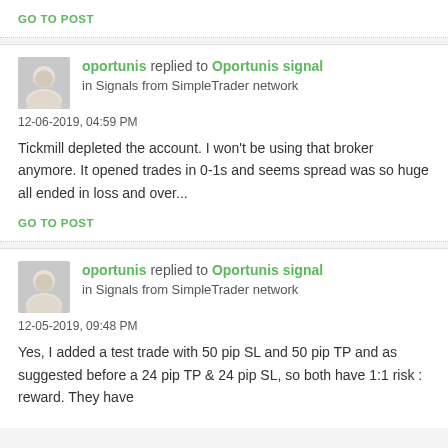GO TO POST
oportunis replied to Oportunis signal in Signals from SimpleTrader network
12-06-2019, 04:59 PM
Tickmill depleted the account. I won't be using that broker anymore. It opened trades in 0-1s and seems spread was so huge all ended in loss and over...
GO TO POST
oportunis replied to Oportunis signal in Signals from SimpleTrader network
12-05-2019, 09:48 PM
Yes, I added a test trade with 50 pip SL and 50 pip TP and as suggested before a 24 pip TP & 24 pip SL, so both have 1:1 risk : reward. They have